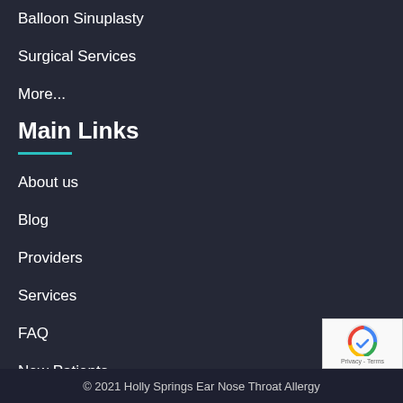Balloon Sinuplasty
Surgical Services
More...
Main Links
About us
Blog
Providers
Services
FAQ
New Patients
Patient Portal
Contact Us
© 2021 Holly Springs Ear Nose Throat Allergy